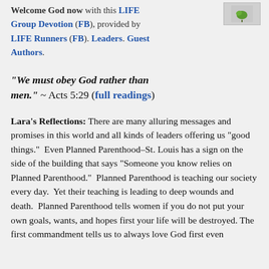Welcome God now with this LIFE Group Devotion (FB), provided by LIFE Runners (FB). Leaders. Guest Authors.
[Figure (illustration): Small green leaf/plant icon in a light box in upper right corner]
“We must obey God rather than men.” ~ Acts 5:29 (full readings)
Lara’s Reflections: There are many alluring messages and promises in this world and all kinds of leaders offering us “good things.”  Even Planned Parenthood–St. Louis has a sign on the side of the building that says “Someone you know relies on Planned Parenthood.”  Planned Parenthood is teaching our society every day.  Yet their teaching is leading to deep wounds and death.  Planned Parenthood tells women if you do not put your own goals, wants, and hopes first your life will be destroyed. The first commandment tells us to always love God first even